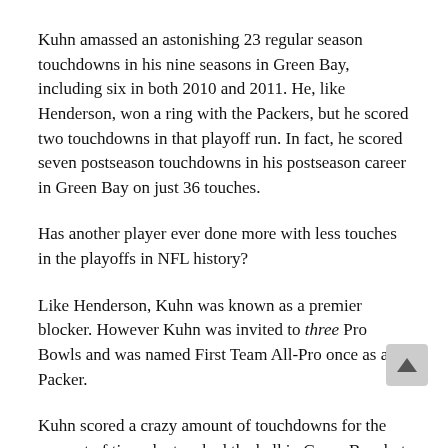Kuhn amassed an astonishing 23 regular season touchdowns in his nine seasons in Green Bay, including six in both 2010 and 2011. He, like Henderson, won a ring with the Packers, but he scored two touchdowns in that playoff run. In fact, he scored seven postseason touchdowns in his postseason career in Green Bay on just 36 touches.
Has another player ever done more with less touches in the playoffs in NFL history?
Like Henderson, Kuhn was known as a premier blocker. However Kuhn was invited to three Pro Bowls and was named First Team All-Pro once as a Packer.
Kuhn scored a crazy amount of touchdowns for the amount of times he touched the ball in Green Bay, but his greatest play was the block he threw against Julius Peppers in the memorable “4th and 8” game-winning pass from Aaron Rodgers to Randall Cobb to defeat the Chicago Bears in the final game of 2013 to win the NFC North.